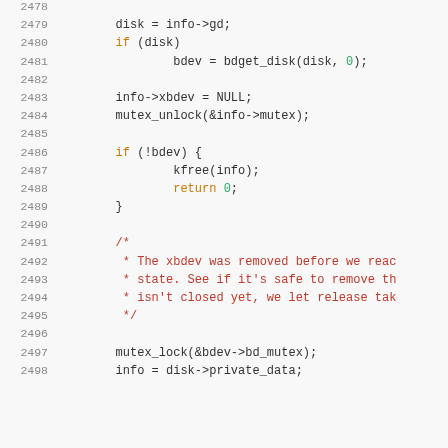Source code listing, lines 2478-2498, showing C kernel code with syntax highlighting including disk/bdev operations and a comment block about xbdev removal.